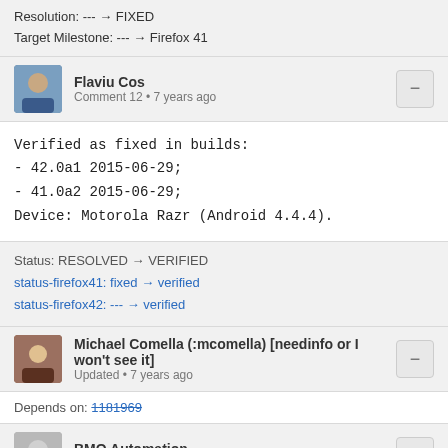Resolution: --- → FIXED
Target Milestone: --- → Firefox 41
Flaviu Cos
Comment 12 • 7 years ago
Verified as fixed in builds:
- 42.0a1 2015-06-29;
- 41.0a2 2015-06-29;
Device: Motorola Razr (Android 4.4.4).
Status: RESOLVED → VERIFIED
status-firefox41: fixed → verified
status-firefox42: --- → verified
Michael Comella (:mcomella) [needinfo or I won't see it]
Updated • 7 years ago
Depends on: 1181969
BMO Automation
Updated • 2 years ago